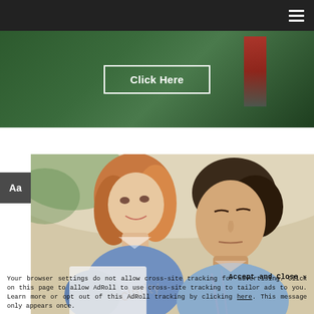Navigation bar with hamburger menu
[Figure (photo): Banner image with dark green foliage background, a 'Click Here' button with white border outline, and a red accent element visible on the right side]
[Figure (photo): Photo of a middle-aged couple looking at something together; woman with reddish-brown hair on left, man with dark hair on right, both wearing blue/light colored tops]
Aa
Accept and Close ✕
Your browser settings do not allow cross-site tracking for advertising. Click on this page to allow AdRoll to use cross-site tracking to tailor ads to you. Learn more or opt out of this AdRoll tracking by clicking here. This message only appears once.